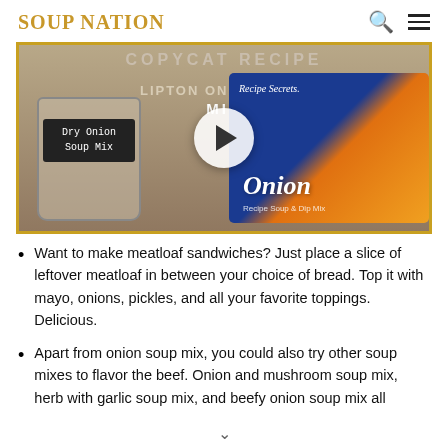SOUP NATION
[Figure (screenshot): Video thumbnail showing a jar labeled 'Dry Onion Soup Mix' and a Lipton Recipe Secrets Onion soup packet, with a play button overlay and text 'LIPTON ONION SOUP MIX']
Want to make meatloaf sandwiches? Just place a slice of leftover meatloaf in between your choice of bread. Top it with mayo, onions, pickles, and all your favorite toppings. Delicious.
Apart from onion soup mix, you could also try other soup mixes to flavor the beef. Onion and mushroom soup mix, herb with garlic soup mix, and beefy onion soup mix all